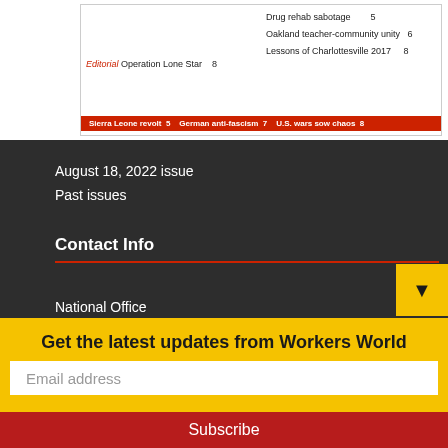[Figure (other): Partial magazine cover snippet showing headlines: 'Drug rehab sabotage 5', 'Oakland teacher-community unity 6', 'Lessons of Charlottesville 2017 8', 'Editorial Operation Lone Star 8', red bar with 'Sierra Leone revolt 5  German anti-fascism 7  U.S. wars sow chaos 8']
August 18, 2022 issue
Past issues
Contact Info
National Office
147 W. 24th St. 2nd Fl.
New York, NY 10011
Phone: 212-627-2994
E-mail: WWP@Workers.org
Get the latest updates from Workers World
Email address
Subscribe